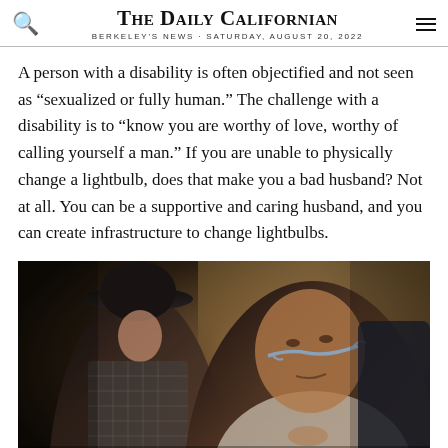THE DAILY CALIFORNIAN
BERKELEY'S NEWS · SATURDAY, AUGUST 20, 2022
A person with a disability is often objectified and not seen as “sexualized or fully human.” The challenge with a disability is to “know you are worthy of love, worthy of calling yourself a man.” If you are unable to physically change a lightbulb, does that make you a bad husband? Not at all. You can be a supportive and caring husband, and you can create infrastructure to change lightbulbs.
[Figure (photo): Two people at what appears to be an event or panel discussion. On the left, a woman wearing a black hat and a black-and-white checkered outfit sits in the background. On the right in the foreground, a man wearing a white shirt and a breathing device (nasal cannula/CPAP mask) looks upward thoughtfully.]